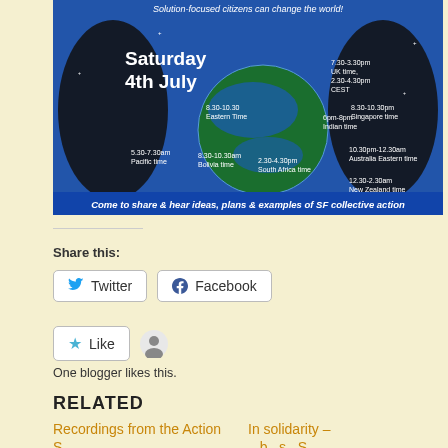[Figure (infographic): Event banner for a global SF collective action meeting on Saturday 4th July, showing a world globe with various time zones listed: 7.30-3.30pm UK time, 2.30-4.30pm CEST, 8pm-8pm Indian time, 8.30-10.30pm Singapore time, 10.30pm-12.30am Australia Eastern time, 12.30-2.30am New Zealand time, 5.30-7.30am Pacific time, 8.30-10.30 Eastern Time, 8.30-10.30am Bolivia time, 2.30-4.30pm South Africa time. Caption: Come to share & hear ideas, plans & examples of SF collective action]
Share this:
Twitter
Facebook
Like
One blogger likes this.
RELATED
Recordings from the Action S...
In solidarity – ...